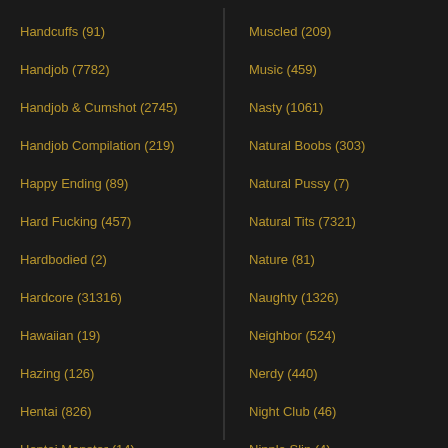Handcuffs (91)
Handjob (7782)
Handjob & Cumshot (2745)
Handjob Compilation (219)
Happy Ending (89)
Hard Fucking (457)
Hardbodied (2)
Hardcore (31316)
Hawaiian (19)
Hazing (126)
Hentai (826)
Hentai Monster (14)
Hermaphrodite (8)
Hidden Cam (7782)
High Heels (2196)
High School (61)
Muscled (209)
Music (459)
Nasty (1061)
Natural Boobs (303)
Natural Pussy (7)
Natural Tits (7321)
Nature (81)
Naughty (1326)
Neighbor (524)
Nerdy (440)
Night Club (46)
Nipple Slip (4)
Nipples (3412)
Noisy (18)
Norwegian (70)
Nubile (333)